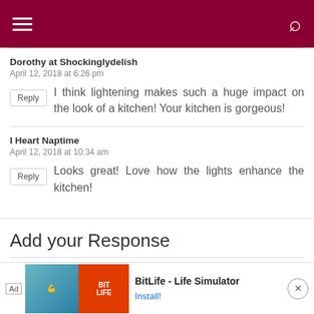Navigation header with hamburger menu and search icon
Dorothy at Shockinglydelish
April 12, 2018 at 6:26 pm
I think lightening makes such a huge impact on the look of a kitchen! Your kitchen is gorgeous!
I Heart Naptime
April 12, 2018 at 10:34 am
Looks great! Love how the lights enhance the kitchen!
Add your Response
Your email address is required fields a...
[Figure (screenshot): Advertisement banner: BitLife - Life Simulator with Install button]